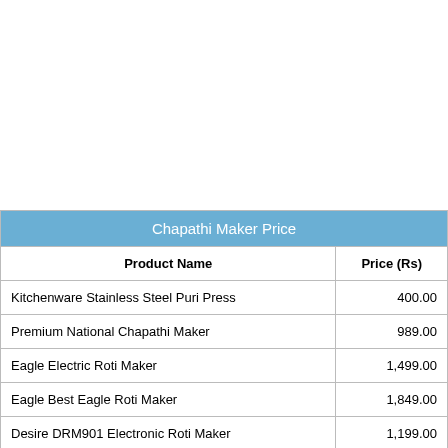| Product Name | Price (Rs) |
| --- | --- |
| Kitchenware Stainless Steel Puri Press | 400.00 |
| Premium National Chapathi Maker | 989.00 |
| Eagle Electric Roti Maker | 1,499.00 |
| Eagle Best Eagle Roti Maker | 1,849.00 |
| Desire DRM901 Electronic Roti Maker | 1,199.00 |